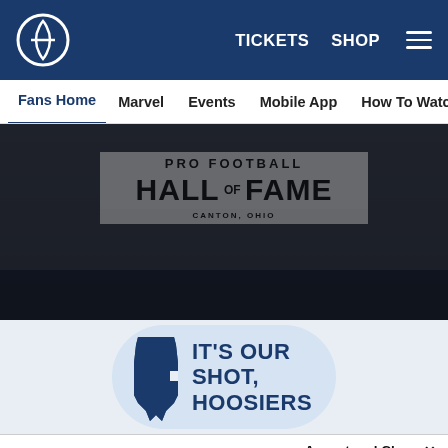Indianapolis Colts website navigation header with logo, TICKETS, SHOP links and hamburger menu
Fans Home | Marvel | Events | Mobile App | How To Watch Colts G
[Figure (photo): Pro Football Hall of Fame building exterior with large sign reading PRO FOOTBALL HALL OF FAME, dark toned photo]
[Figure (infographic): IT'S OUR SHOT, HOOSIERS vaccination campaign banner with Indiana state shape in blue on light blue background]
Accept and Close ×
Your browser settings do not allow cross-site tracking for advertising. Click on this page to allow AdRoll to use cross-site tracking to tailor ads to you. Learn more or opt out of this AdRoll tracking by clicking here. This message only appears once.